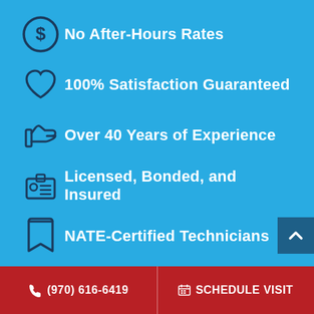No After-Hours Rates
100% Satisfaction Guaranteed
Over 40 Years of Experience
Licensed, Bonded, and Insured
NATE-Certified Technicians
(970) 616-6419
SCHEDULE VISIT